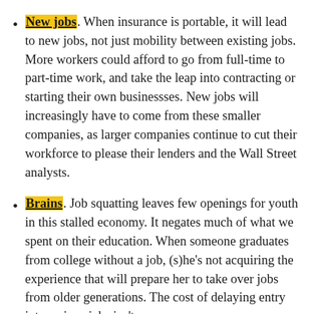New jobs. When insurance is portable, it will lead to new jobs, not just mobility between existing jobs. More workers could afford to go from full-time to part-time work, and take the leap into contracting or starting their own businessses. New jobs will increasingly have to come from these smaller companies, as larger companies continue to cut their workforce to please their lenders and the Wall Street analysts.
Brains. Job squatting leaves few openings for youth in this stalled economy. It negates much of what we spent on their education. When someone graduates from college without a job, (s)he's not acquiring the experience that will prepare her to take over jobs from older generations. The cost of delaying entry into serious jobs isn't